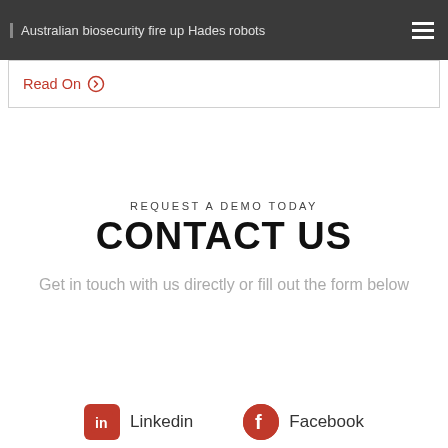Australian biosecurity fire up Hades robots
Read On →
REQUEST A DEMO TODAY
CONTACT US
Get in touch with us directly or fill out the form below
Linkedin  Facebook